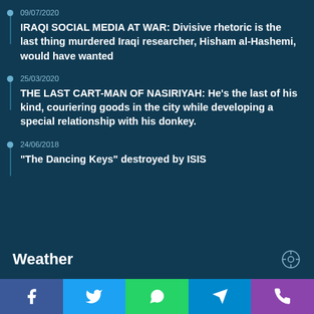09/07/2020
IRAQI SOCIAL MEDIA AT WAR: Divisive rhetoric is the last thing murdered Iraqi researcher, Hisham al-Hashemi, would have wanted
25/03/2020
THE LAST CART-MAN OF NASIRIYAH: He’s the last of his kind, couriering goods in the city while developing a special relationship with his donkey.
24/06/2018
“The Dancing Keys” destroyed by ISIS
Weather
[Figure (infographic): Sun icon with temperature 45 degrees Celsius weather widget]
45° - 37°